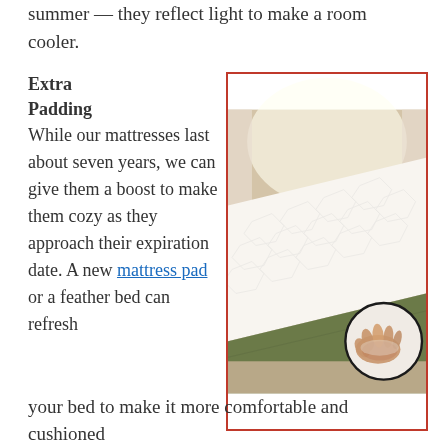summer — they reflect light to make a room cooler.
Extra Padding While our mattresses last about seven years, we can give them a boost to make them cozy as they approach their expiration date. A new mattress pad or a feather bed can refresh
[Figure (photo): Photo of a white quilted mattress pad on a bed with a dark olive green bed skirt. A circular inset in the bottom right shows a hand pressing into the padded surface to demonstrate its cushioned feel.]
your bed to make it more comfortable and cushioned